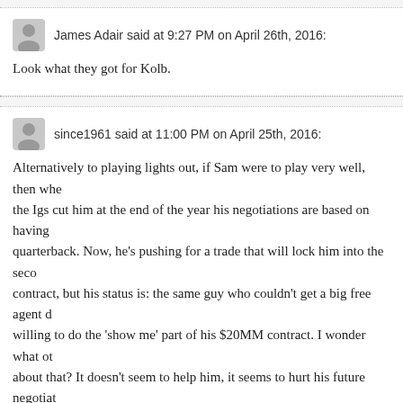James Adair said at 9:27 PM on April 26th, 2016:
Look what they got for Kolb.
since1961 said at 11:00 PM on April 25th, 2016:
Alternatively to playing lights out, if Sam were to play very well, then whe the Igs cut him at the end of the year his negotiations are based on having quarterback. Now, he's pushing for a trade that will lock him into the seco contract, but his status is: the same guy who couldn't get a big free agent d willing to do the 'show me' part of his $20MM contract. I wonder what ot about that? It doesn't seem to help him, it seems to hurt his future negotiat